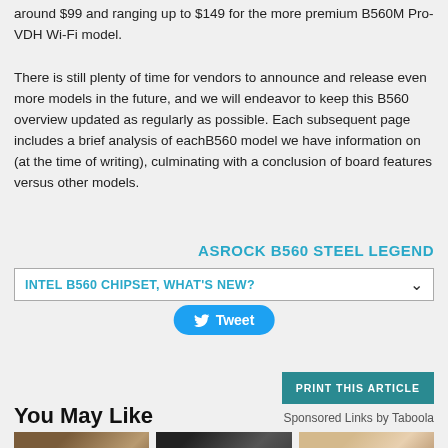around $99 and ranging up to $149 for the more premium B560M Pro-VDH Wi-Fi model.
There is still plenty of time for vendors to announce and release even more models in the future, and we will endeavor to keep this B560 overview updated as regularly as possible. Each subsequent page includes a brief analysis of eachB560 model we have information on (at the time of writing), culminating with a conclusion of board features versus other models.
ASROCK B560 STEEL LEGEND
INTEL B560 CHIPSET, WHAT'S NEW?
Tweet
PRINT THIS ARTICLE
You May Like
Sponsored Links by Taboola
[Figure (photo): Three thumbnail images side by side at the bottom of the page]
[Figure (photo): Car interior thumbnail]
[Figure (photo): Person/face thumbnail]